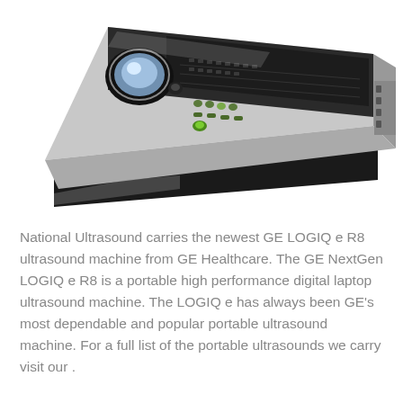[Figure (photo): A GE LOGIQ e R8 portable ultrasound machine shown at an angle, displaying the control panel with buttons, a trackball, and keyboard. The device has a silver and black finish.]
National Ultrasound carries the newest GE LOGIQ e R8 ultrasound machine from GE Healthcare. The GE NextGen LOGIQ e R8 is a portable high performance digital laptop ultrasound machine. The LOGIQ e has always been GE's most dependable and popular portable ultrasound machine. For a full list of the portable ultrasounds we carry visit our .